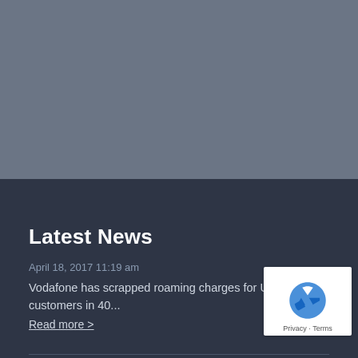[Figure (photo): Grey-blue background image placeholder occupying the top half of the page]
Latest News
April 18, 2017 11:19 am
Vodafone has scrapped roaming charges for UK customers in 40...
Read more >